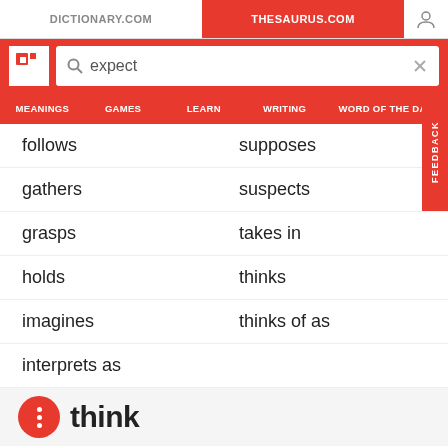DICTIONARY.COM | THESAURUS.COM
[Figure (screenshot): Search bar with logo and 'expect' query on Thesaurus.com]
MEANINGS  GAMES  LEARN  WRITING  WORD OF THE DAY
follows
supposes
gathers
suspects
grasps
takes in
holds
thinks
imagines
thinks of as
interprets as
think